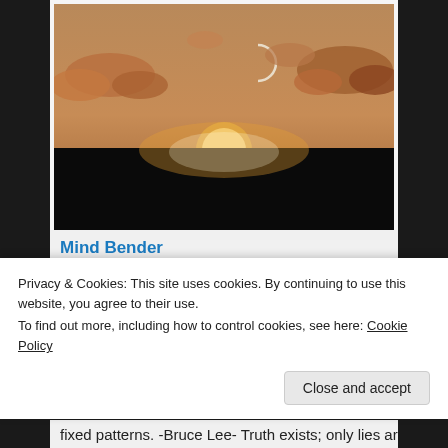[Figure (illustration): A digital illustration of a sunset or sunrise scene. A crescent moon is visible in a warm amber/brown sky with stylized clouds. A glowing sun or bright light source sits on the horizon behind a large dark black silhouette of a flat surface or building, with a soft glow reflected below.]
Mind Bender
Privacy & Cookies: This site uses cookies. By continuing to use this website, you agree to their use.
To find out more, including how to control cookies, see here: Cookie Policy
Close and accept
fixed patterns. -Bruce Lee- Truth exists; only lies are